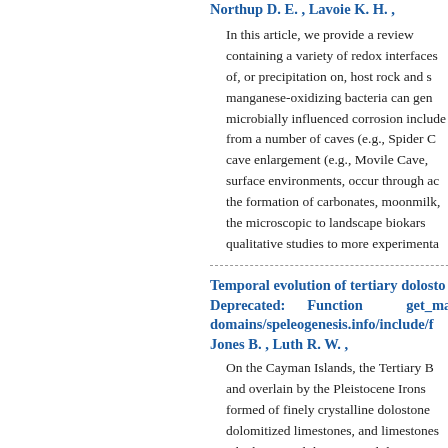Northup D. E. , Lavoie K. H. ,
In this article, we provide a review containing a variety of redox interfaces of, or precipitation on, host rock and s manganese-oxidizing bacteria can gen microbially influenced corrosion include from a number of caves (e.g., Spider C cave enlargement (e.g., Movile Cave, surface environments, occur through ac the formation of carbonates, moonmilk, the microscopic to landscape biokars qualitative studies to more experimenta
Temporal evolution of tertiary dolosto Deprecated: Function get_ma domains/speleogenesis.info/include/f Jones B. , Luth R. W. ,
On the Cayman Islands, the Tertiary B and overlain by the Pleistocene Irons formed of finely crystalline dolostone dolomitized limestones, and limestones which retained their original depositiona mum long) interlocking, euhedral dolor but is very rare in the Pedro Castle F alternating zones of low-Ca calcian dol evolution of Tertiary dolostones becau isolated by the deep oceanic waters ar Bluff Group indicate that the successio